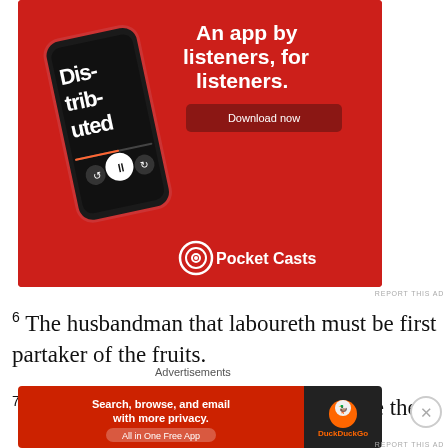[Figure (illustration): Pocket Casts app advertisement on red background. Shows a smartphone with 'Dis-trib-uted' podcast playing on screen. Text reads 'An app by listeners, for listeners.' with a 'Download now' button and the Pocket Casts logo at the bottom.]
REPORT THIS AD
6 The husbandman that laboureth must be first partaker of the fruits.
7 Consider what I say; and the Lord give thee understanding in all things
Advertisements
[Figure (illustration): DuckDuckGo advertisement. Red background with text 'Search, browse, and email with more privacy. All in One Free App' with DuckDuckGo duck logo on dark right panel.]
REPORT THIS AD